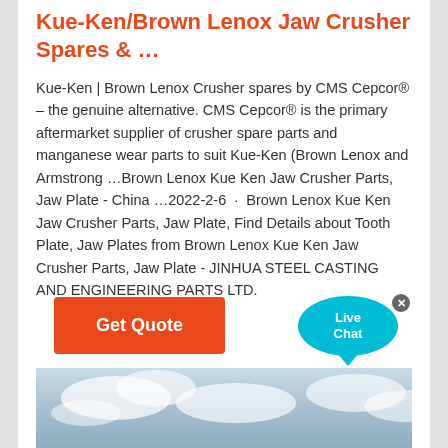Kue-Ken/Brown Lenox Jaw Crusher Spares & …
Kue-Ken | Brown Lenox Crusher spares by CMS Cepcor® – the genuine alternative. CMS Cepcor® is the primary aftermarket supplier of crusher spare parts and manganese wear parts to suit Kue-Ken (Brown Lenox and Armstrong …Brown Lenox Kue Ken Jaw Crusher Parts, Jaw Plate - China …2022-2-6 · Brown Lenox Kue Ken Jaw Crusher Parts, Jaw Plate, Find Details about Tooth Plate, Jaw Plates from Brown Lenox Kue Ken Jaw Crusher Parts, Jaw Plate - JINHUA STEEL CASTING AND ENGINEERING PARTS LTD.
[Figure (other): Live Chat widget — a cyan oval speech bubble with 'Live Chat' text and a close X button]
[Figure (other): Orange 'Get Quote' button]
[Figure (photo): Bottom strip showing a sky/clouds photograph, partially visible]